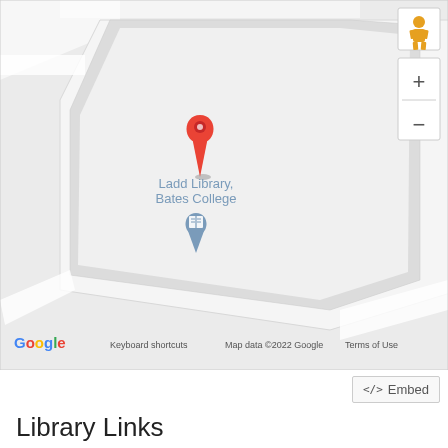[Figure (map): Google Maps screenshot showing Ladd Library, Bates College location with a red pin marker, a street view pegman icon, zoom in/out controls, and the Google logo with copyright notice. Map data ©2022 Google.]
</> Embed
Library Links